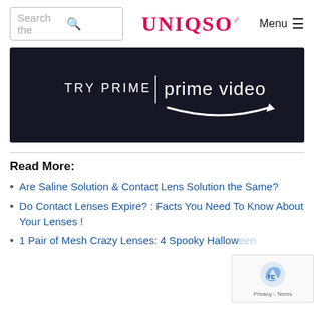Search the | UNIQSO | Menu
[Figure (other): Amazon Prime Video advertisement banner — dark navy background with text 'TRY PRIME | prime video' and Amazon arrow logo]
Read More:
Are Saline Solution & Contact Lens Solution the Same?
Do Contact Lenses Expire? : Facts You Need To Know About Your Lenses !
1 Pair of Mesh Crazy Lenses: 4 Spooky Halloween